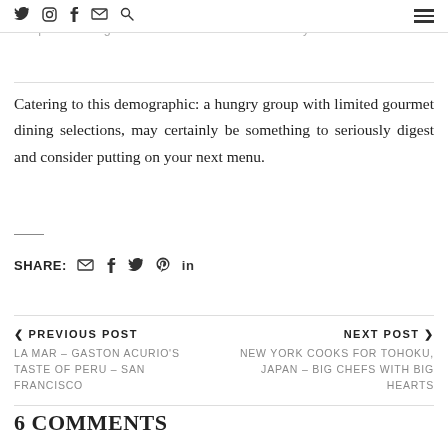establishment apart. Serving after typical feasting hours is certainly an option to bring in new revenue in a weak economy.
Catering to this demographic: a hungry group with limited gourmet dining selections, may certainly be something to seriously digest and consider putting on your next menu.
SHARE: [email] [facebook] [twitter] [pinterest] [linkedin]
< PREVIOUS POST
LA MAR – GASTON ACURIO'S TASTE OF PERU – SAN FRANCISCO
NEXT POST >
NEW YORK COOKS FOR TOHOKU, JAPAN – BIG CHEFS WITH BIG HEARTS
6 COMMENTS